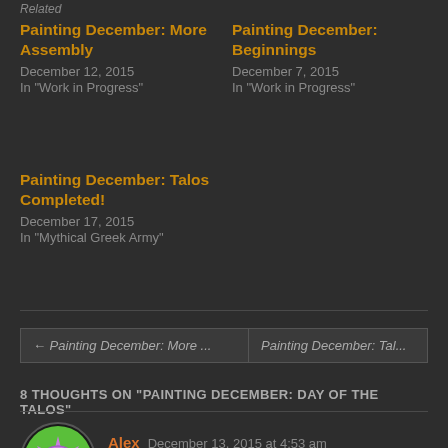Related
Painting December: More Assembly
December 12, 2015
In "Work in Progress"
Painting December: Beginnings
December 7, 2015
In "Work in Progress"
Painting December: Talos Completed!
December 17, 2015
In "Mythical Greek Army"
← Painting December: More ...
Painting December: Tal...
8 THOUGHTS ON "PAINTING DECEMBER: DAY OF THE TALOS"
[Figure (illustration): Avatar icon of a pink star-shaped face with dot eyes and slight frown on a green circular background]
Alex  December 13, 2015 at 4:53 am